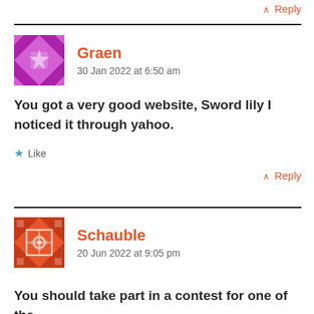↑ Reply
Graen
30 Jan 2022 at 6:50 am
You got a very good website, Sword lily I noticed it through yahoo.
★ Like
↑ Reply
Schauble
20 Jun 2022 at 9:05 pm
You should take part in a contest for one of the